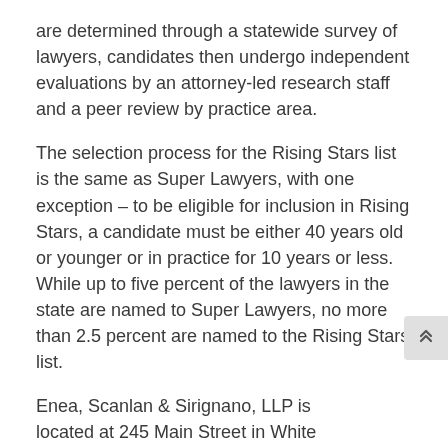are determined through a statewide survey of lawyers, candidates then undergo independent evaluations by an attorney-led research staff and a peer review by practice area.
The selection process for the Rising Stars list is the same as Super Lawyers, with one exception – to be eligible for inclusion in Rising Stars, a candidate must be either 40 years old or younger or in practice for 10 years or less. While up to five percent of the lawyers in the state are named to Super Lawyers, no more than 2.5 percent are named to the Rising Stars list.
Enea, Scanlan & Sirignano, LLP is located at 245 Main Street in White Plains, N.Y. with additional offices in Somers, N.Y. For more information or to schedule a consultation, call 914-948-1500 or visit www.esslawfirm.com.
About Enea, Scanlan & Sirignano, LLP